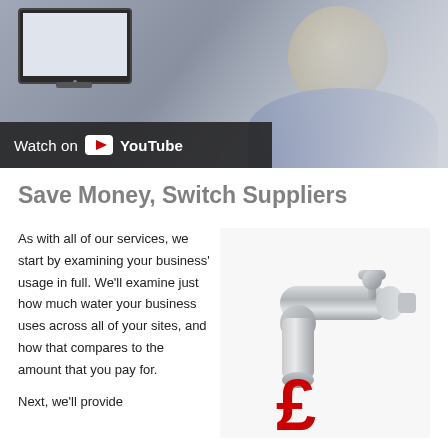[Figure (screenshot): YouTube video thumbnail showing a man sitting in front of an Apple iMac monitor, with a 'Watch on YouTube' overlay bar at the bottom left.]
Save Money, Switch Suppliers
As with all of our services, we start by examining your business' usage in full. We'll examine just how much water your business uses across all of your sites, and how that compares to the amount that you pay for.
[Figure (illustration): Illustration of a silver water tap/faucet with a large red pound sign (£) dripping from the spout, symbolizing water cost savings.]
Next, we'll provide